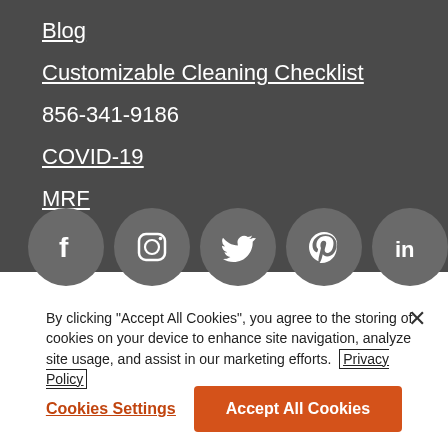Blog
Customizable Cleaning Checklist
856-341-9186
COVID-19
MRF
[Figure (infographic): Social media icons in grey circles: Facebook, Instagram, Twitter, Pinterest, LinkedIn]
By clicking "Accept All Cookies", you agree to the storing of cookies on your device to enhance site navigation, analyze site usage, and assist in our marketing efforts. Privacy Policy
Cookies Settings
Accept All Cookies